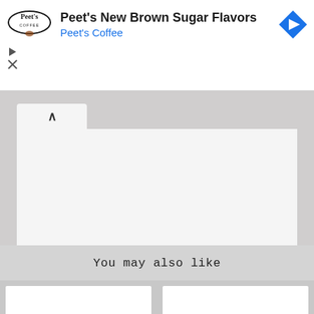[Figure (screenshot): Advertisement banner for Peet's Coffee showing logo, headline 'Peet's New Brown Sugar Flavors', advertiser name 'Peet's Coffee', and a blue diamond navigation icon. Below are play and close controls.]
You may also like
[Figure (screenshot): Two white card thumbnails below 'You may also like' section, partially visible at bottom of page.]